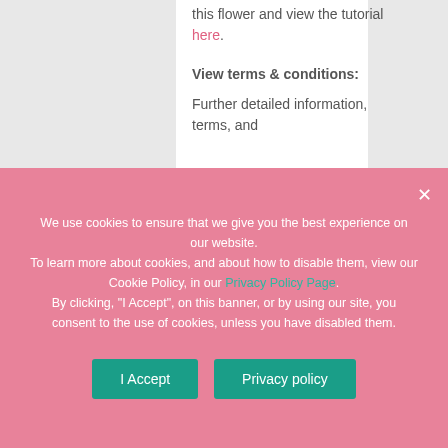this flower and view the tutorial here.
View terms & conditions:
Further detailed information, terms, and
We use cookies to ensure that we give you the best experience on our website. To learn more about cookies, and about how to disable them, view our Cookie Policy, in our Privacy Policy Page. By clicking, "I Accept", on this banner, or by using our site, you consent to the use of cookies, unless you have disabled them.
I Accept
Privacy policy